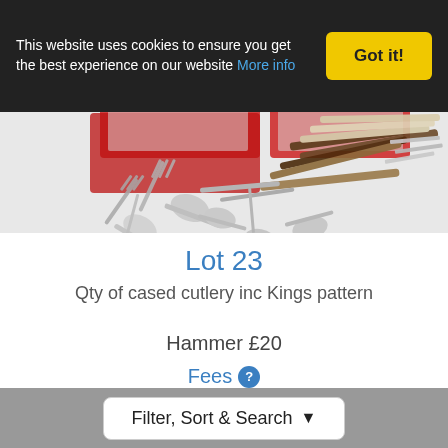This website uses cookies to ensure you get the best experience on our website More info
Got it!
[Figure (photo): A collection of silver cutlery including forks, knives, and spoons, some in red presentation cases and others loose in a pile, including Kings pattern cutlery.]
Lot 23
Qty of cased cutlery inc Kings pattern
Hammer £20
Fees ?
Filter, Sort & Search